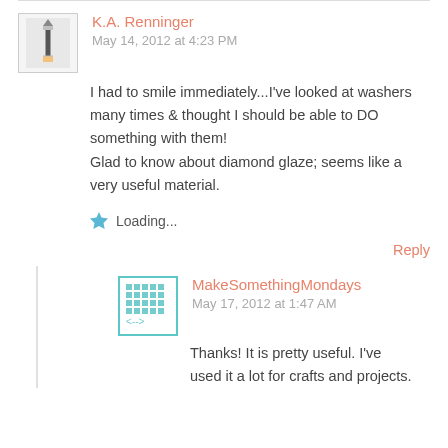[Figure (illustration): Pencil avatar thumbnail for commenter K.A. Renninger]
K.A. Renninger
May 14, 2012 at 4:23 PM
I had to smile immediately...I've looked at washers many times & thought I should be able to DO something with them!
Glad to know about diamond glaze; seems like a very useful material.
Loading...
Reply
[Figure (illustration): Teal mosaic avatar thumbnail for commenter MakeSomethingMondays]
MakeSomethingMondays
May 17, 2012 at 1:47 AM
Thanks! It is pretty useful. I've used it a lot for crafts and projects.